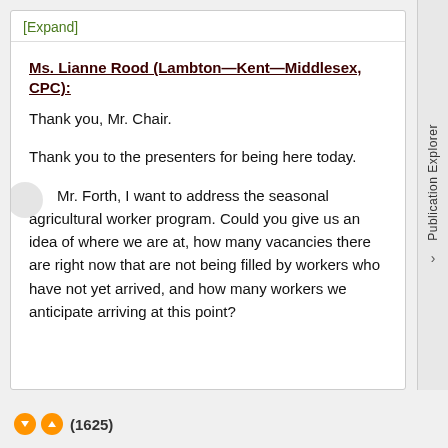[Expand]
Ms. Lianne Rood (Lambton—Kent—Middlesex, CPC):
Thank you, Mr. Chair.
Thank you to the presenters for being here today.
Mr. Forth, I want to address the seasonal agricultural worker program. Could you give us an idea of where we are at, how many vacancies there are right now that are not being filled by workers who have not yet arrived, and how many workers we anticipate arriving at this point?
(1625)